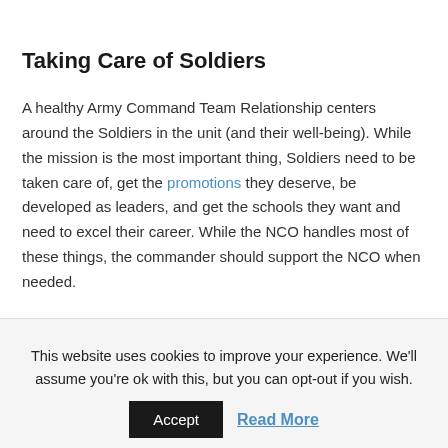Taking Care of Soldiers
A healthy Army Command Team Relationship centers around the Soldiers in the unit (and their well-being). While the mission is the most important thing, Soldiers need to be taken care of, get the promotions they deserve, be developed as leaders, and get the schools they want and need to excel their career. While the NCO handles most of these things, the commander should support the NCO when needed.
This website uses cookies to improve your experience. We'll assume you're ok with this, but you can opt-out if you wish.